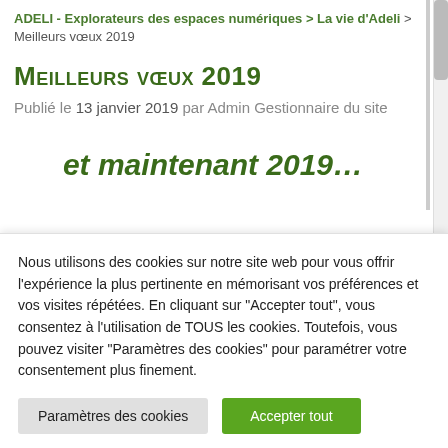ADELI - Explorateurs des espaces numériques > La vie d'Adeli > Meilleurs vœux 2019
Meilleurs vœux 2019
Publié le 13 janvier 2019 par Admin Gestionnaire du site
et maintenant 2019…
Nous utilisons des cookies sur notre site web pour vous offrir l'expérience la plus pertinente en mémorisant vos préférences et vos visites répétées. En cliquant sur "Accepter tout", vous consentez à l'utilisation de TOUS les cookies. Toutefois, vous pouvez visiter "Paramètres des cookies" pour paramétrer votre consentement plus finement.
Paramètres des cookies | Accepter tout